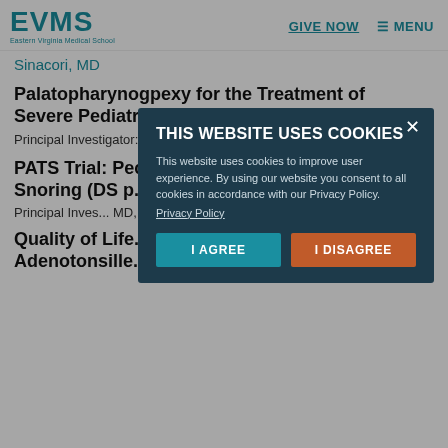EVMS Eastern Virginia Medical School | GIVE NOW | MENU
Sinacori, MD
Palatopharynogpexy for the Treatment of Severe Pediatric Obstructive Sleep Apnea
Principal Investigator: C. Baldassari, MD
PATS Trial: Pediatric Adenotonsillectomy for Snoring (DS p...)
Principal Investigator: ... MD, DDS, and T...
Quality of Life ... Adenotonsille... Apnea in Children: a Randomized Prospective...
THIS WEBSITE USES COOKIES
This website uses cookies to improve user experience. By using our website you consent to all cookies in accordance with our Privacy Policy.
Privacy Policy
I AGREE
I DISAGREE